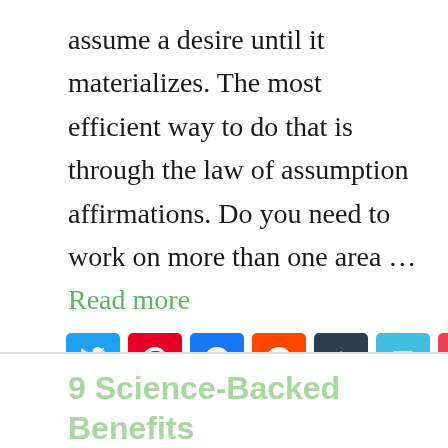assume a desire until it materializes. The most efficient way to do that is through the law of assumption affirmations. Do you need to work on more than one area … Read more
[Figure (other): Social share buttons: Twitter (blue), Pinterest (red), Facebook (blue), Reddit (orange), Buffer (dark), Email (light blue), Pocket (pink/red), and a share count showing 0 SHARES]
Quotes and Affirmations
Gratitude, Positivity
9 Science-Backed Benefits